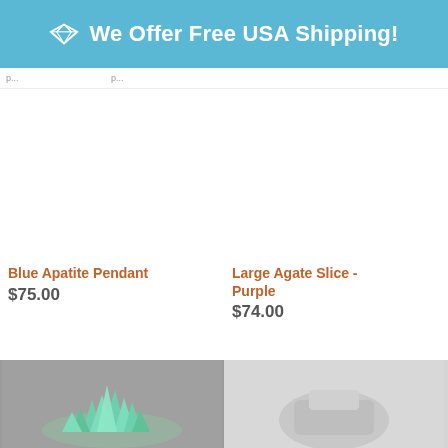We Offer Free USA Shipping!
Blue Apatite Pendant
$75.00
Large Agate Slice - Purple
$74.00
[Figure (photo): Teal/green crystal cluster on gray background (bottom left)]
[Figure (photo): White/gray mineral specimen on light gray background (bottom right)]